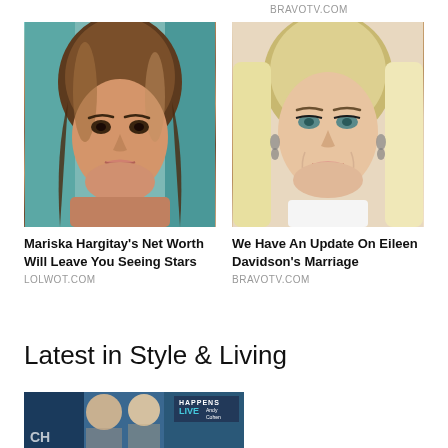BRAVOTV.COM
[Figure (photo): Photo of Mariska Hargitay, brunette woman smiling]
Mariska Hargitay's Net Worth Will Leave You Seeing Stars
LOLWOT.COM
[Figure (photo): Photo of Eileen Davidson, blonde woman smiling]
We Have An Update On Eileen Davidson's Marriage
BRAVOTV.COM
Latest in Style & Living
[Figure (photo): Partial photo showing two women at a Watch What Happens Live with Andy Cohen event]